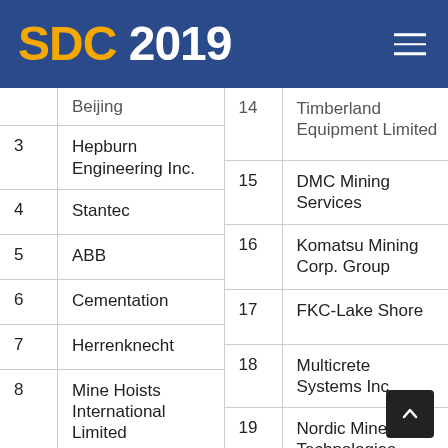SDC 2019
| # | Company |
| --- | --- |
|  | Beijing |
| 3 | Hepburn Engineering Inc. |
| 4 | Stantec |
| 5 | ABB |
| 6 | Cementation |
| 7 | Herrenknecht |
| 8 | Mine Hoists International Limited |
| 9 | Technica Mining |
| # | Company |
| --- | --- |
| 14 | Timberland Equipment Limited |
| 15 | DMC Mining Services |
| 16 | Komatsu Mining Corp. Group |
| 17 | FKC-Lake Shore |
| 18 | Multicrete Systems Inc. |
| 19 | Nordic Minesteel Technologies |